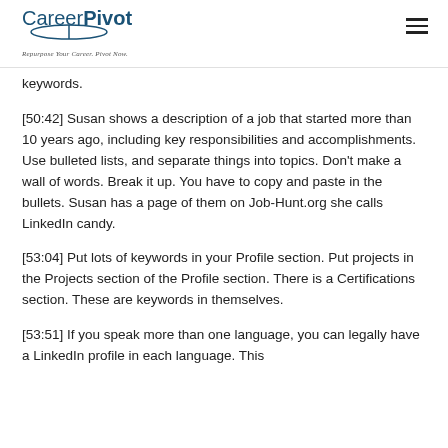CareerPivot — Repurpose Your Career. Pivot Now.
keywords.
[50:42] Susan shows a description of a job that started more than 10 years ago, including key responsibilities and accomplishments. Use bulleted lists, and separate things into topics. Don't make a wall of words. Break it up. You have to copy and paste in the bullets. Susan has a page of them on Job-Hunt.org she calls LinkedIn candy.
[53:04] Put lots of keywords in your Profile section. Put projects in the Projects section of the Profile section. There is a Certifications section. These are keywords in themselves.
[53:51] If you speak more than one language, you can legally have a LinkedIn profile in each language. This